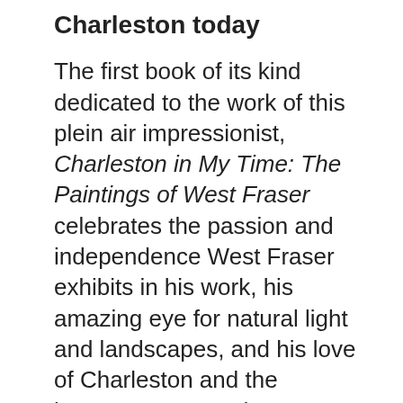Charleston today
The first book of its kind dedicated to the work of this plein air impressionist, Charleston in My Time: The Paintings of West Fraser celebrates the passion and independence West Fraser exhibits in his work, his amazing eye for natural light and landscapes, and his love of Charleston and the lowcountry. More than two hundred beautifully reproduced color plates showcase Fraser's paintings of city landmarks, lowcountry scenes, and glimpses of life along streets and lanes, marshes and rivers. And though the paintings speak for themselves, two introductory essays written by a friend and collector, Ted Phillips, and art